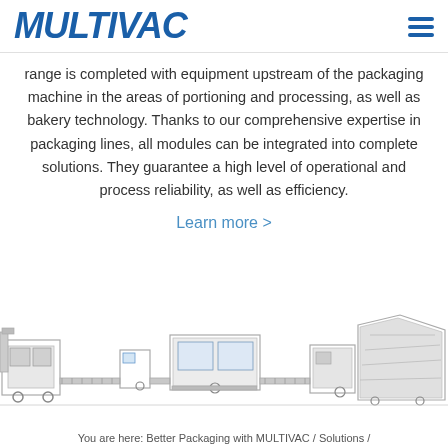MULTIVAC
range is completed with equipment upstream of the packaging machine in the areas of portioning and processing, as well as bakery technology. Thanks to our comprehensive expertise in packaging lines, all modules can be integrated into complete solutions. They guarantee a high level of operational and process reliability, as well as efficiency.
Learn more >
[Figure (photo): Industrial packaging machine line showing multiple connected modules including conveyor systems and processing units, depicted in a technical line-drawing style.]
You are here: Better Packaging with MULTIVAC / Solutions /